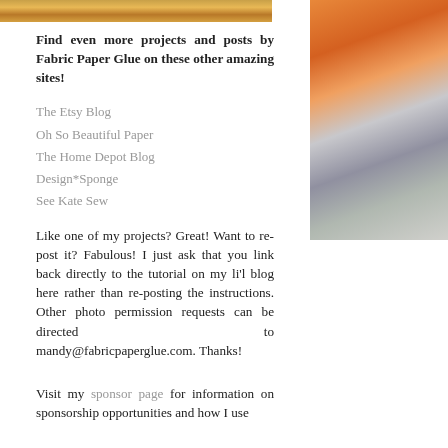[Figure (photo): Top of page: partial photo of wooden or amber-toned surface]
Find even more projects and posts by Fabric Paper Glue on these other amazing sites!
The Etsy Blog
Oh So Beautiful Paper
The Home Depot Blog
Design*Sponge
See Kate Sew
Like one of my projects? Great! Want to re-post it? Fabulous! I just ask that you link back directly to the tutorial on my li'l blog here rather than re-posting the instructions. Other photo permission requests can be directed to mandy@fabricpaperglue.com. Thanks!
Visit my sponsor page for information on sponsorship opportunities and how I use
[Figure (photo): Right side: orange and gray decorative objects photo]
[Figure (photo): Right bottom: dark gray textured photo]